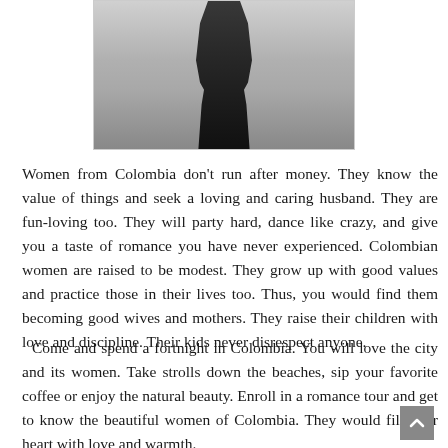[Figure (photo): Black and white photograph of a woman's lower body wearing dark clothing, stockings, and high heels, cropped to show torso to feet]
Women from Colombia don't run after money. They know the value of things and seek a loving and caring husband. They are fun-loving too. They will party hard, dance like crazy, and give you a taste of romance you have never experienced. Colombian women are raised to be modest. They grow up with good values and practice those in their lives too. Thus, you would find them becoming good wives and mothers. They raise their children with love and discipline. Their kids never disrespect anyone.
Come and spend a fortnight in Colombia. You will love the city and its women. Take strolls down the beaches, sip your favorite coffee or enjoy the natural beauty. Enroll in a romance tour and get to know the beautiful women of Colombia. They would fill your heart with love and warmth.